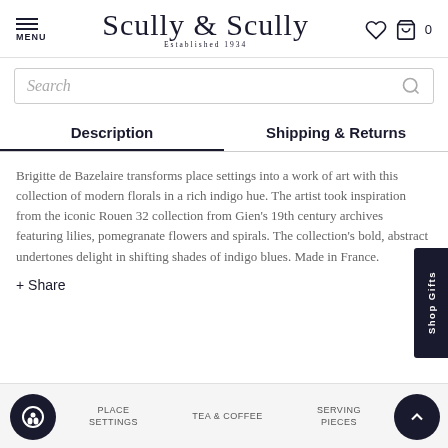MENU | Scully & Scully Established 1934 | ♡ 🛍 0
Search
Description | Shipping & Returns
Brigitte de Bazelaire transforms place settings into a work of art with this collection of modern florals in a rich indigo hue. The artist took inspiration from the iconic Rouen 32 collection from Gien's 19th century archives featuring lilies, pomegranate flowers and spirals. The collection's bold, abstract undertones delight in shifting shades of indigo blues. Made in France.
+ Share
PLACE SETTINGS | TEA & COFFEE | SERVING PIECES